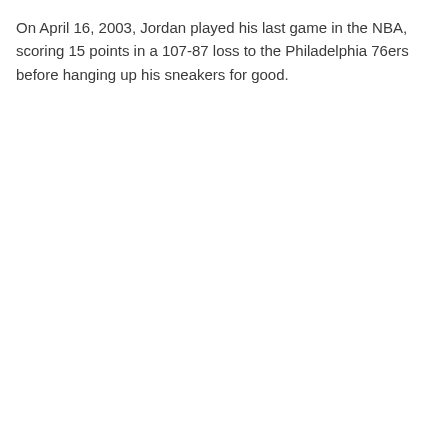On April 16, 2003, Jordan played his last game in the NBA, scoring 15 points in a 107-87 loss to the Philadelphia 76ers before hanging up his sneakers for good.